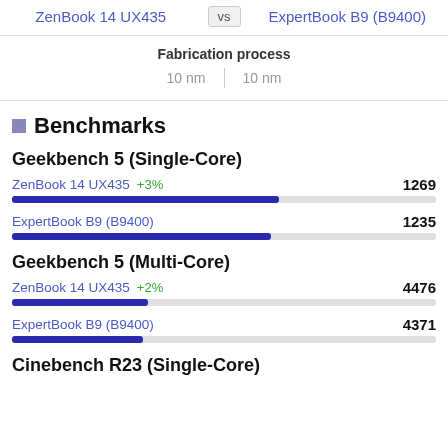ZenBook 14 UX435 vs ExpertBook B9 (B9400)
Fabrication process
10 nm | 10 nm
Benchmarks
Geekbench 5 (Single-Core)
ZenBook 14 UX435 +3%  1269
[Figure (bar-chart): Geekbench 5 Single-Core]
ExpertBook B9 (B9400)  1235
Geekbench 5 (Multi-Core)
ZenBook 14 UX435 +2%  4476
ExpertBook B9 (B9400)  4371
Cinebench R23 (Single-Core)